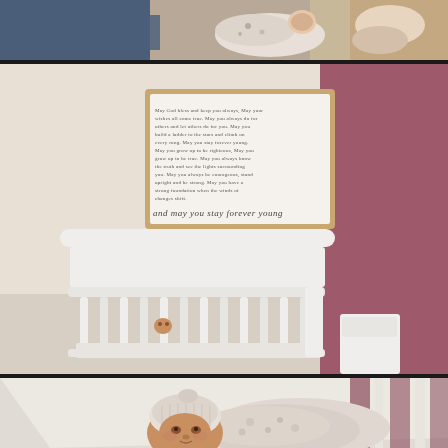[Figure (photo): Top portion of a photo showing adults holding a newborn baby, partially cropped — only the bottom section visible showing jeans and a swaddled infant in floral wrap.]
[Figure (photo): Nursery room photo showing a white convertible crib against a beige and dark rose/mauve accent wall. Above the crib hangs a framed wooden sign with song lyrics ending in cursive 'and may you stay forever young'. A baby is partially visible through the crib slats.]
[Figure (photo): Close-up photo of a newborn baby lying on a white surface, swaddled in a floral/botanical print wrap, wearing a knit hat, looking up at the camera.]